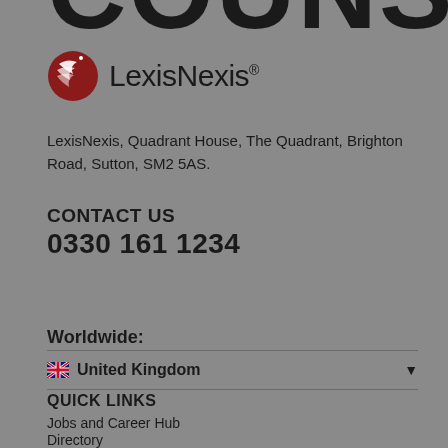COUNSEL
[Figure (logo): LexisNexis logo — red globe icon with white bird, followed by LexisNexis wordmark]
LexisNexis, Quadrant House, The Quadrant, Brighton Road, Sutton, SM2 5AS.
CONTACT US
0330 161 1234
GET IN TOUCH
Worldwide:
🇬🇧 United Kingdom
QUICK LINKS
Jobs and Career Hub
Directory
Current Issue